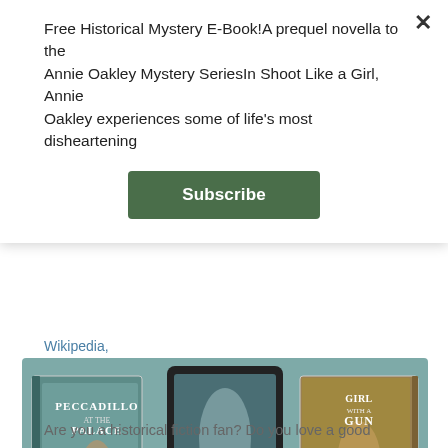Free Historical Mystery E-Book!A prequel novella to theAnnie Oakley Mystery SeriesIn Shoot Like a Girl, Annie Oakley experiences some of life’s most disheartening
Subscribe
Wikipedia,
[Figure (photo): Three book covers displayed: 'Peccadillo at the Palace' on the left (physical book), 'Shoot Like a Girl' by Kari Bovee in the center (on a tablet/e-reader), and 'Girl with a Gun' by Kari Bovee on the right (physical book). A dark circle badge reads 'Coming May 7, 2019'. Background is teal/muted blue-green.]
Are you a historical fiction fan? Do you love a good